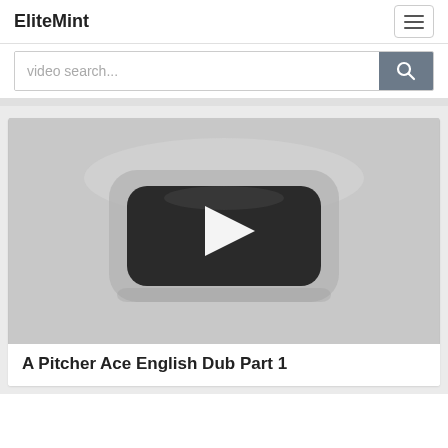EliteMint
video search...
[Figure (screenshot): Video thumbnail placeholder with a YouTube-style play button icon (dark rounded rectangle with white triangle) on a light gray background]
A Pitcher Ace English Dub Part 1